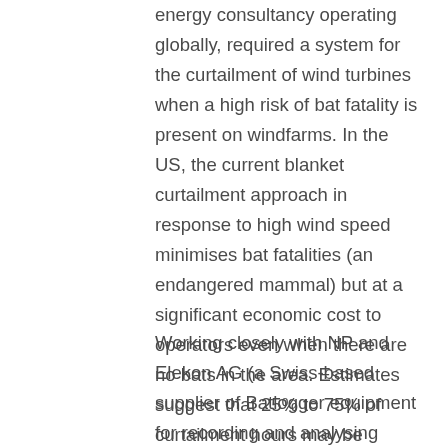energy consultancy operating globally, required a system for the curtailment of wind turbines when a high risk of bat fatality is present on windfarms. In the US, the current blanket curtailment approach in response to high wind speed minimises bat fatalities (an endangered mammal) but at a significant economic cost to operators even when there are no bats in the area. Estimates suggest that 25% to 75% of curtailment hours may be unnecessary.
Working closely with NP and Elekon AG (a Swiss-based supplier of Batlogger equipment for recording and analysing